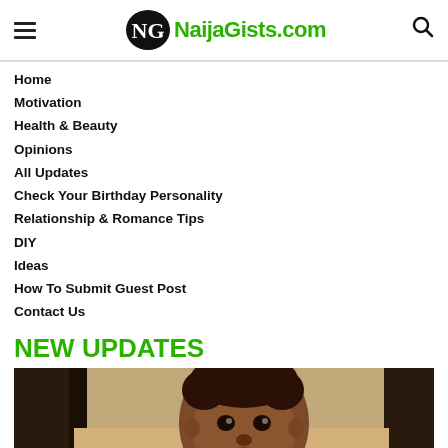NaijaGists.com
Home
Motivation
Health & Beauty
Opinions
All Updates
Check Your Birthday Personality
Relationship & Romance Tips
DIY
Ideas
How To Submit Guest Post
Contact Us
NEW UPDATES
[Figure (photo): Close-up photo of a young African toddler/baby looking at camera, indoor background]